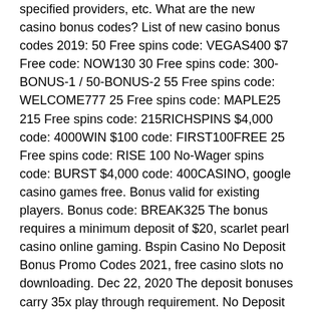specified providers, etc. What are the new casino bonus codes? List of new casino bonus codes 2019: 50 Free spins code: VEGAS400 $7 Free code: NOW130 30 Free spins code: 300-BONUS-1 / 50-BONUS-2 55 Free spins code: WELCOME777 25 Free spins code: MAPLE25 215 Free spins code: 215RICHSPINS $4,000 code: 4000WIN $100 code: FIRST100FREE 25 Free spins code: RISE 100 No-Wager spins code: BURST $4,000 code: 400CASINO, google casino games free. Bonus valid for existing players. Bonus code: BREAK325 The bonus requires a minimum deposit of $20, scarlet pearl casino online gaming. Bspin Casino No Deposit Bonus Promo Codes 2021, free casino slots no downloading. Dec 22, 2020 The deposit bonuses carry 35x play through requirement. No Deposit Bonus Credits, golden nugget laughlin slot machines. These are an amount of free bonuses credits in one. Once you have one, just log in and it's